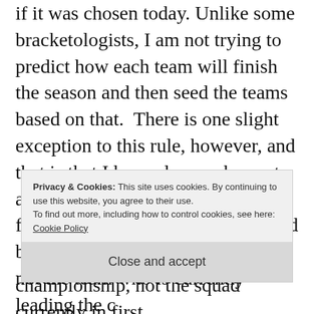if it was chosen today. Unlike some bracketologists, I am not trying to predict how each team will finish the season and then seed the teams based on that. There is one slight exception to this rule, however, and that is that I have always chosen to award the projected automatic bid for each conference to my projected best team in that conference, and not the team who is currently leading the conference standings. Given how wholesome
Privacy & Cookies: This site uses cookies. By continuing to use this website, you agree to their use. To find out more, including how to control cookies, see here: Cookie Policy
Close and accept
championship, not the squad currently in first